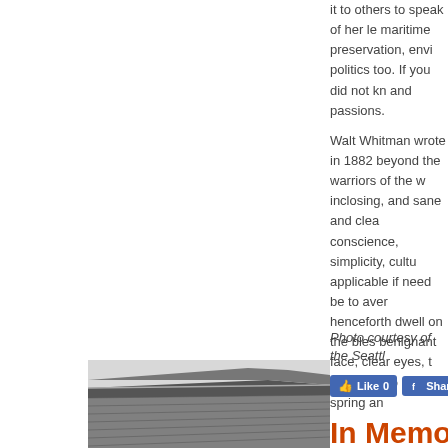it to others to speak of her le maritime preservation, envi politics too. If you did not kn and passions.
Walt Whitman wrote in 1882 beyond the warriors of the w inclosing, and sane and clea conscience, simplicity, cultu applicable if need be to aver henceforth dwell on the bles benignant face, clear eyes, t last, with so much spring an
Photo courtesy of the Seattl
[Figure (screenshot): Facebook Like and Share social buttons showing Like 0 and Share]
[Figure (photo): Black and white photograph of a building exterior showing architectural details]
In Memoriam